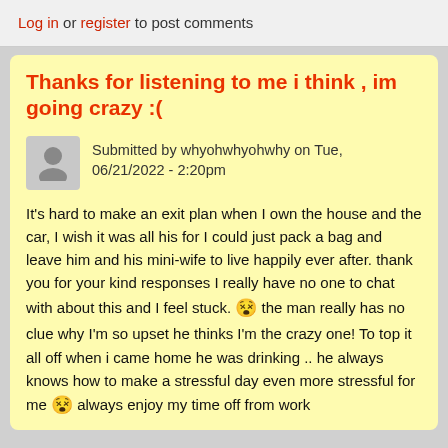Log in or register to post comments
Thanks for listening to me i think , im going crazy :(
Submitted by whyohwhyohwhy on Tue, 06/21/2022 - 2:20pm
It's hard to make an exit plan when I own the house and the car, I wish it was all his for I could just pack a bag and leave him and his mini-wife to live happily ever after. thank you for your kind responses I really have no one to chat with about this and I feel stuck. 😵 the man really has no clue why I'm so upset he thinks I'm the crazy one! To top it all off when i came home he was drinking .. he always knows how to make a stressful day even more stressful for me 😵 always enjoy my time off from work